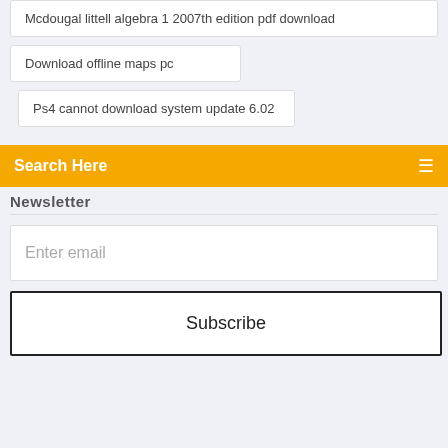Mcdougal littell algebra 1 2007th edition pdf download
Download offline maps pc
Ps4 cannot download system update 6.02
Search Here
Newsletter
Enter email
Subscribe